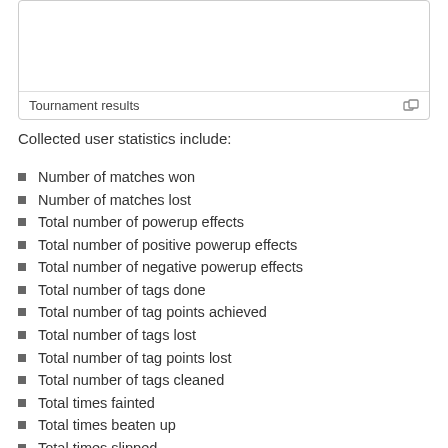[Figure (screenshot): A bordered box labeled 'Tournament results' with an expand icon in the bottom right corner]
Tournament results
Collected user statistics include:
Number of matches won
Number of matches lost
Total number of powerup effects
Total number of positive powerup effects
Total number of negative powerup effects
Total number of tags done
Total number of tag points achieved
Total number of tags lost
Total number of tag points lost
Total number of tags cleaned
Total times fainted
Total times beaten up
Total times slipped